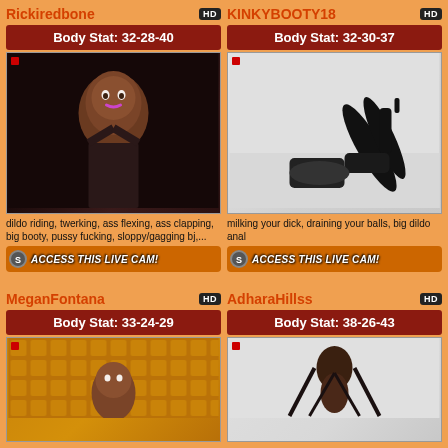Rickiredbone
Body Stat: 32-28-40
[Figure (photo): Profile photo of Rickiredbone]
dildo riding, twerking, ass flexing, ass clapping, big booty, pussy fucking, sloppy/gagging bj,...
ACCESS THIS LIVE CAM!
KINKYBOOTY18
Body Stat: 32-30-37
[Figure (photo): Profile photo of KINKYBOOTY18]
milking your dick, draining your balls, big dildo anal
ACCESS THIS LIVE CAM!
MeganFontana
Body Stat: 33-24-29
[Figure (photo): Profile photo of MeganFontana (partial, bottom of page)]
AdharaHillss
Body Stat: 38-26-43
[Figure (photo): Profile photo of AdharaHillss (partial, bottom of page)]